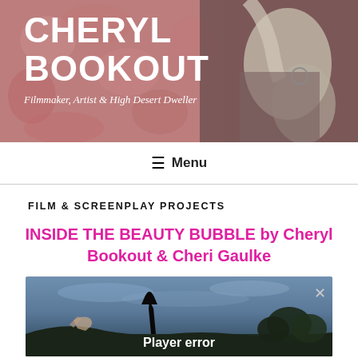[Figure (photo): Header banner photo showing a woman with long white/gray hair reaching up toward a large decorative pink/red patterned artwork on a wall. Text overlay shows site name and tagline.]
CHERYL BOOKOUT
Filmmaker, Artist & High Desert Dweller
≡ Menu
FILM & SCREENPLAY PROJECTS
INSIDE THE BEAUTY BUBBLE by Cheryl Bookout & Cheri Gaulke
[Figure (screenshot): Video player showing a dark outdoor scene with sky and silhouetted landscape/trees. Displays a 'Player error' message in white text. Has an X close button in top right corner.]